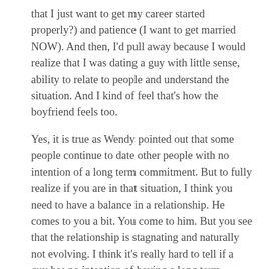that I just want to get my career started properly?) and patience (I want to get married NOW). And then, I'd pull away because I would realize that I was dating a guy with little sense, ability to relate to people and understand the situation. And I kind of feel that's how the boyfriend feels too.
Yes, it is true as Wendy pointed out that some people continue to date other people with no intention of a long term commitment. But to fully realize if you are in that situation, I think you need to have a balance in a relationship. He comes to you a bit. You come to him. But you see that the relationship is stagnating and naturally not evolving. I think it's really hard to tell if a guy has no intention of having a long term commitment when maybe he hasn't gotten to that point or doesn't want one yet, and you're there banging him on the head of the marriage club. That's...